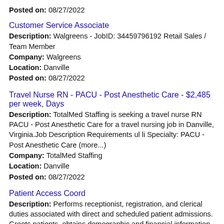Posted on: 08/27/2022
Customer Service Associate
Description: Walgreens - JobID: 34459796192 Retail Sales / Team Member
Company: Walgreens
Location: Danville
Posted on: 08/27/2022
Travel Nurse RN - PACU - Post Anesthetic Care - $2,485 per week, Days
Description: TotalMed Staffing is seeking a travel nurse RN PACU - Post Anesthetic Care for a travel nursing job in Danville, Virginia.Job Description Requirements ul li Specialty: PACU - Post Anesthetic Care (more...)
Company: TotalMed Staffing
Location: Danville
Posted on: 08/27/2022
Patient Access Coord
Description: Performs receptionist, registration, and clerical duties associated with direct and scheduled patient admissions. Greets patients, obtains demographic and financial information, obtains necessary signatures (more...)